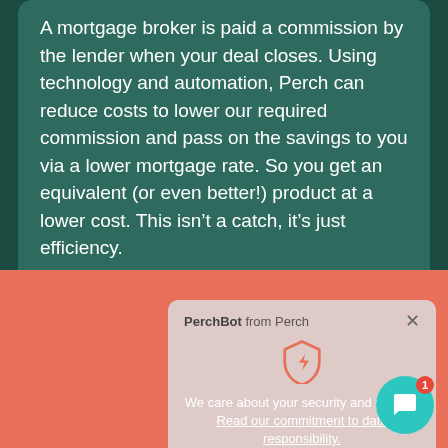A mortgage broker is paid a commission by the lender when your deal closes. Using technology and automation, Perch can reduce costs to lower our required commission and pass on the savings to you via a lower mortgage rate. So you get an equivalent (or even better!) product at a lower cost. This isn't a catch, it's just efficiency.
[Figure (screenshot): PerchBot chat popup with shield icon, text about security and privacy, and a link to data responsibility commitment]
We care about your security and privacy. Read our commitment to data responsibility.